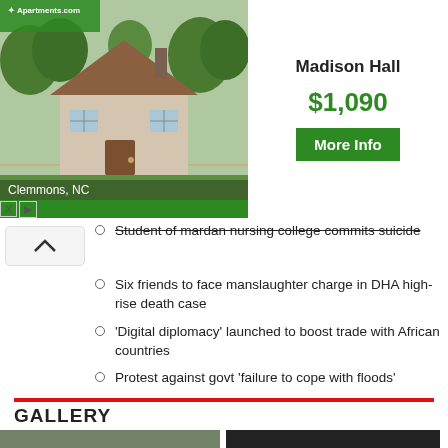[Figure (screenshot): Apartments.com advertisement banner showing a house photo in Clemmons, NC with Madison Hall listing at $1,090 with More Info button]
Student of mardan nursing college commits suicide
Six friends to face manslaughter charge in DHA high-rise death case
'Digital diplomacy' launched to boost trade with African countries
Protest against govt 'failure to cope with floods'
GALLERY
[Figure (photo): Crowd of people at a rally or protest]
[Figure (logo): YouTube logo partially visible]